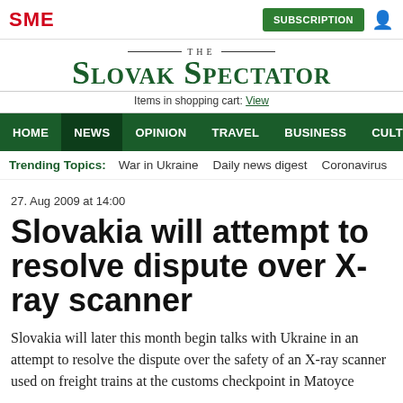SME | SUBSCRIPTION
THE SLOVAK SPECTATOR
Items in shopping cart: View
HOME  NEWS  OPINION  TRAVEL  BUSINESS  CULTURE  ≡ MENU  🔍
Trending Topics: War in Ukraine  Daily news digest  Coronavirus  For
27. Aug 2009 at 14:00
Slovakia will attempt to resolve dispute over X-ray scanner
Slovakia will later this month begin talks with Ukraine in an attempt to resolve the dispute over the safety of an X-ray scanner used on freight trains at the customs checkpoint in Matoyce